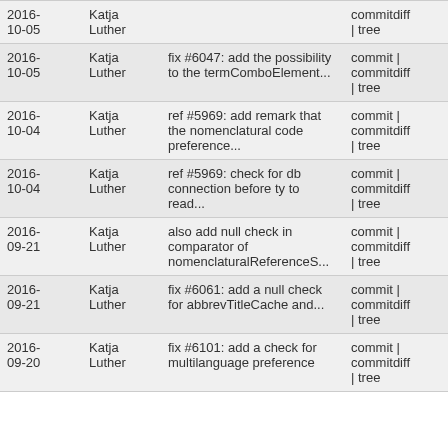| Date | Author | Message | Links |
| --- | --- | --- | --- |
| 2016-10-05 | Katja Luther |  | commitdiff | tree |
| 2016-10-05 | Katja Luther | fix #6047: add the possibility to the termComboElement... | commit | commitdiff | tree |
| 2016-10-04 | Katja Luther | ref #5969: add remark that the nomenclatural code preference... | commit | commitdiff | tree |
| 2016-10-04 | Katja Luther | ref #5969: check for db connection before ty to read... | commit | commitdiff | tree |
| 2016-09-21 | Katja Luther | also add null check in comparator of nomenclaturalReferenceS... | commit | commitdiff | tree |
| 2016-09-21 | Katja Luther | fix #6061: add a null check for abbrevTitleCache and... | commit | commitdiff | tree |
| 2016-09-20 | Katja Luther | fix #6101: add a check for multilanguage preference | commit | commitdiff | tree |